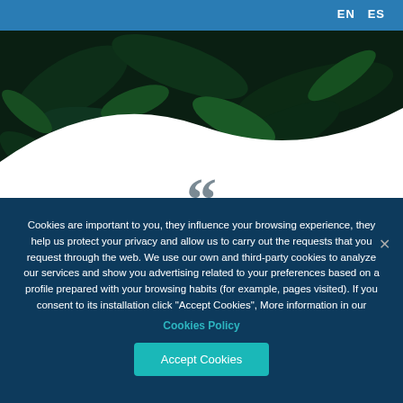EN  ES
[Figure (photo): Dark green leafy background photo with white wave overlay at the bottom]
Cookies are important to you, they influence your browsing experience, they help us protect your privacy and allow us to carry out the requests that you request through the web. We use our own and third-party cookies to analyze our services and show you advertising related to your preferences based on a profile prepared with your browsing habits (for example, pages visited). If you consent to its installation click "Accept Cookies", More information in our
Cookies Policy
Accept Cookies